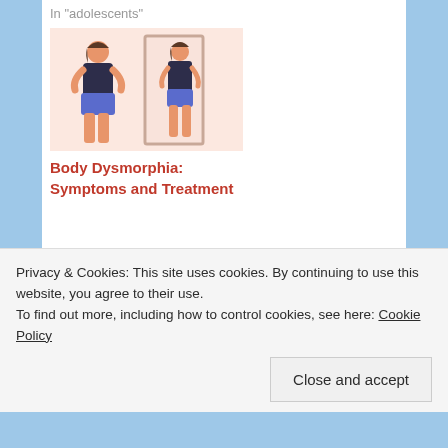In "adolescents"
[Figure (illustration): Two female figures in underwear, one larger figure looking at a slimmer reflection in a mirror, body dysmorphia illustration with pink/peach background]
Body Dysmorphia: Symptoms and Treatment
February 9, 2022
In "Eating Disorders"
UNCATEGORIZED
BODY DYSMORPHIC DISORDER BERGEN COUNTY NJ, BODY IMAGE
Privacy & Cookies: This site uses cookies. By continuing to use this website, you agree to their use.
To find out more, including how to control cookies, see here: Cookie Policy
Close and accept